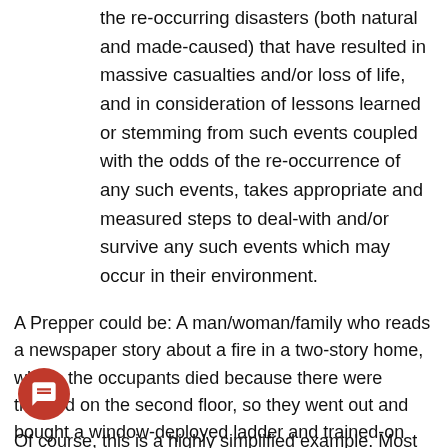the re-occurring disasters (both natural and made-caused) that have resulted in massive casualties and/or loss of life, and in consideration of lessons learned or stemming from such events coupled with the odds of the re-occurrence of any such events, takes appropriate and measured steps to deal-with and/or survive any such events which may occur in their environment.
A Prepper could be: A man/woman/family who reads a newspaper story about a fire in a two-story home, where the occupants died because there were trapped on the second floor, so they went out and bought a window-deployed ladder and trained-on how to deploy and use said ladder.
Of course, this is a highly simplified example. Most Preppers